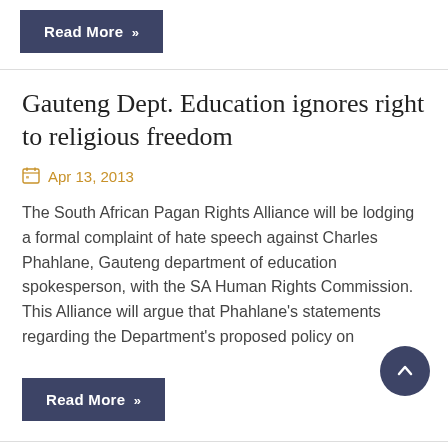Read More »
Gauteng Dept. Education ignores right to religious freedom
Apr 13, 2013
The South African Pagan Rights Alliance will be lodging a formal complaint of hate speech against Charles Phahlane, Gauteng department of education spokesperson, with the SA Human Rights Commission. This Alliance will argue that Phahlane's statements regarding the Department's proposed policy on
Read More »